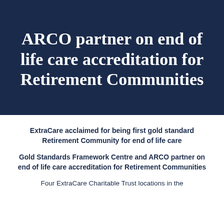ARCO partner on end of life care accreditation for Retirement Communities
ExtraCare acclaimed for being first gold standard Retirement Community for end of life care
Gold Standards Framework Centre and ARCO partner on end of life care accreditation for Retirement Communities
Four ExtraCare Charitable Trust locations in the